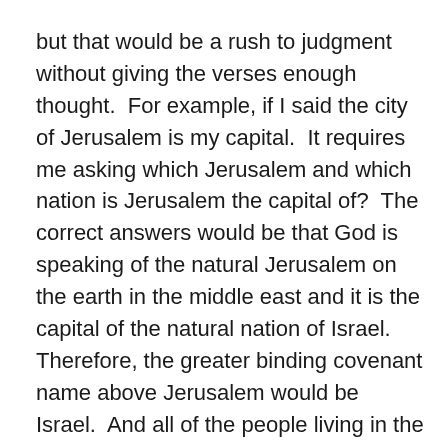but that would be a rush to judgment without giving the verses enough thought.  For example, if I said the city of Jerusalem is my capital.  It requires me asking which Jerusalem and which nation is Jerusalem the capital of?  The correct answers would be that God is speaking of the natural Jerusalem on the earth in the middle east and it is the capital of the natural nation of Israel.  Therefore, the greater binding covenant name above Jerusalem would be Israel.  And all of the people living in the subset of the city of Jerusalem would still be called by the larger mathematical set name Israel also.  These are just basic laws of mathematical sets.  Every subset category is still a member of the larger encompassing set.
This is also true for the people within in the tribe of Judah.  Judah was the one brother that was used by God to bring Jesus into the world.  The single tribe of Judah is still under